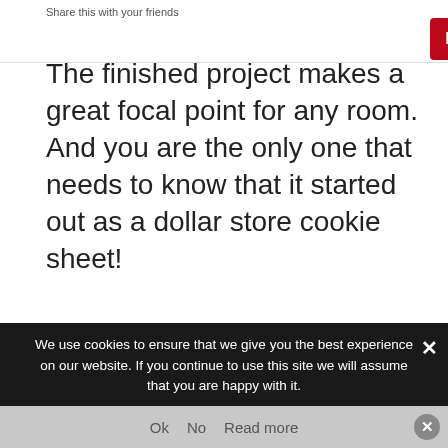Share this with your friends
The finished project makes a great focal point for any room. And you are the only one that needs to know that it started out as a dollar store cookie sheet!
For other tutorials using disposable aluminum cookie sheets, check out:
Faux Tin Tiles
Enchanted Fish 3D Art
We use cookies to ensure that we give you the best experience on our website. If you continue to use this site we will assume that you are happy with it.
Ok   No   Read more